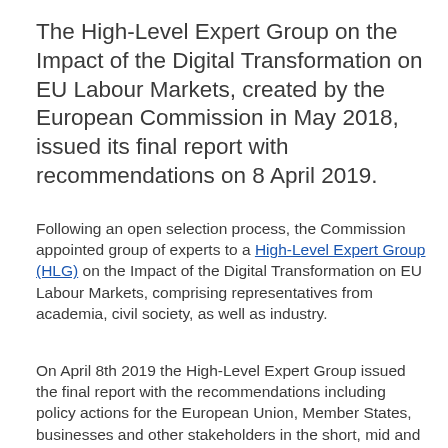The High-Level Expert Group on the Impact of the Digital Transformation on EU Labour Markets, created by the European Commission in May 2018, issued its final report with recommendations on 8 April 2019.
Following an open selection process, the Commission appointed group of experts to a High-Level Expert Group (HLG) on the Impact of the Digital Transformation on EU Labour Markets, comprising representatives from academia, civil society, as well as industry.
On April 8th 2019 the High-Level Expert Group issued the final report with the recommendations including policy actions for the European Union, Member States, businesses and other stakeholders in the short, mid and long-term, to shape the digital transformation of the world